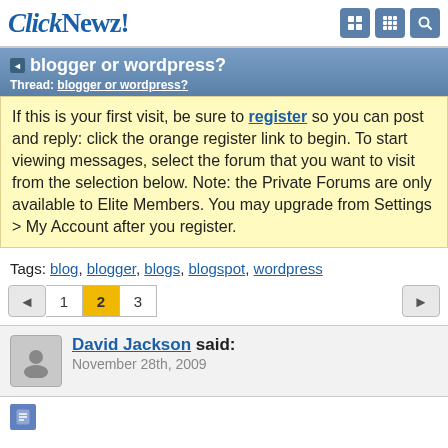ClickNewz!
blogger or wordpress?
Thread: blogger or wordpress?
If this is your first visit, be sure to register so you can post and reply: click the orange register link to begin. To start viewing messages, select the forum that you want to visit from the selection below. Note: the Private Forums are only available to Elite Members. You may upgrade from Settings > My Account after you register.
Tags: blog, blogger, blogs, blogspot, wordpress
1 2 3
David Jackson said: November 28th, 2009